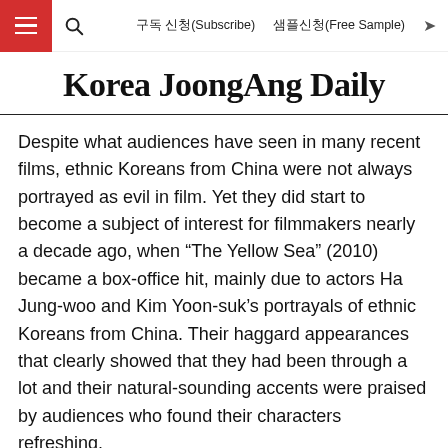구독 신청(Subscribe)   샘플신청(Free Sample)
Korea JoongAng Daily
Despite what audiences have seen in many recent films, ethnic Koreans from China were not always portrayed as evil in film. Yet they did start to become a subject of interest for filmmakers nearly a decade ago, when “The Yellow Sea” (2010) became a box-office hit, mainly due to actors Ha Jung-woo and Kim Yoon-suk’s portrayals of ethnic Koreans from China. Their haggard appearances that clearly showed that they had been through a lot and their natural-sounding accents were praised by audiences who found their characters refreshing.
Yet “Midnight Runners” really cemented the image of ethnic Koreans from China as being a part of crime organizations when they cast the entire Daerim-dong neighborhood as the heart of criminal activity. In one scene, a taxi driver tells one of the main characters: “There are many ethnic Koreans from China here fo…